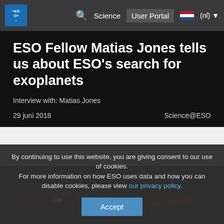ESO Science User Portal (nl)
ESO Fellow Matias Jones tells us about ESO's search for exoplanets
Interview with: Matias Jones
29 juni 2018   Science@ESO
[Figure (photo): Astronomical image showing a bright light source (star or planetary system) with orange and red nebula-like wisps against a dark space background]
By continuing to use this website, you are giving consent to our use of cookies. For more information on how ESO uses data and how you can disable cookies, please view our privacy policy.